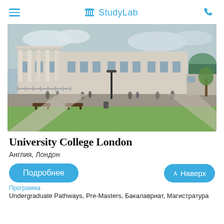StudyLab
[Figure (photo): Exterior photo of University College London (UCL) main building with classical columns, students walking outside, green lawn in foreground, lamp posts and trees visible.]
University College London
Англия, Лондон
Подробнее
^ Наверх
Программа
Undergraduate Pathways, Pre-Masters, Бакалавриат, Магистратура